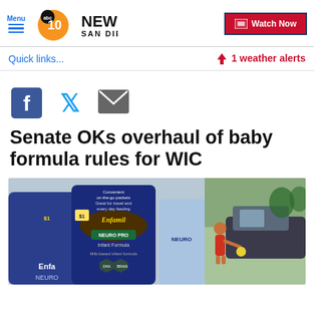Menu | abc10NEWS SAN DIEGO | Watch Now
Quick links...
⚡ 1 weather alerts
[Figure (illustration): Facebook, Twitter, and Email share icons]
Senate OKs overhaul of baby formula rules for WIC
[Figure (photo): Enfamil NeuroPro baby formula cans on the left, and a person loading items into a car on the right]